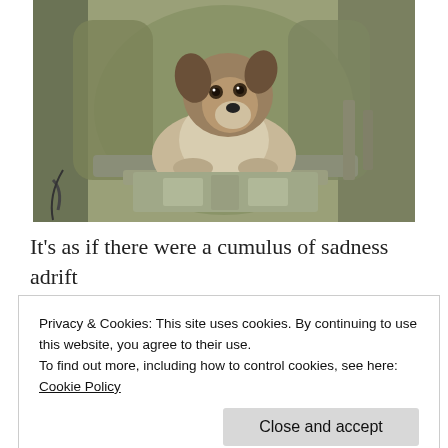[Figure (photo): A dog (Laika) sitting inside a Soviet space capsule/rocket equipment, surrounded by metal panels and machinery. The photograph appears to be a historical color photo.]
It's as if there were a cumulus of sadness adrift through the floor plan, a cloud of melancholy
Privacy & Cookies: This site uses cookies. By continuing to use this website, you agree to their use.
To find out more, including how to control cookies, see here: Cookie Policy
Close and accept